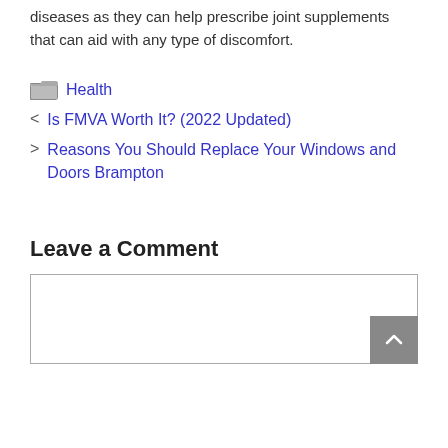diseases as they can help prescribe joint supplements that can aid with any type of discomfort.
Health
< Is FMVA Worth It? (2022 Updated)
> Reasons You Should Replace Your Windows and Doors Brampton
Leave a Comment
[comment text area]